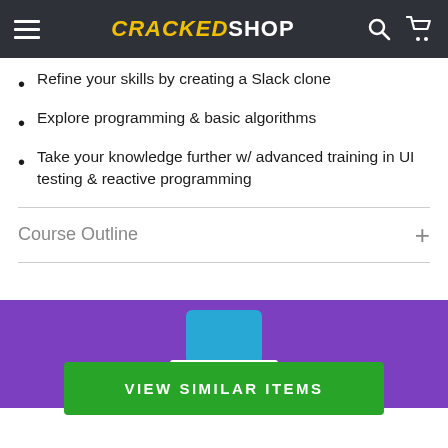CRACKEDSHOP
Refine your skills by creating a Slack clone
Explore programming & basic algorithms
Take your knowledge further w/ advanced training in UI testing & reactive programming
Course Outline
[Figure (illustration): Purple banner background with a blue bottle-top illustration partially visible]
VIEW SIMILAR ITEMS